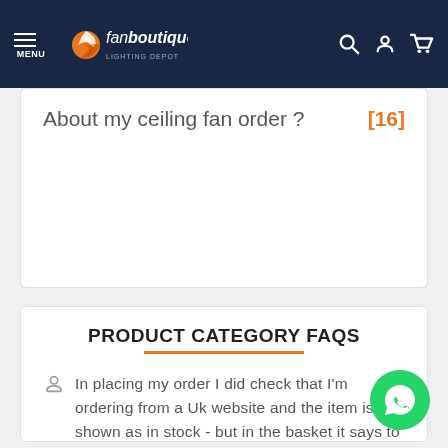[Figure (logo): Fan Boutique website navigation bar with logo, menu icon, and search/account/cart icons]
About my ceiling fan order ?
[16]
PRODUCT CATEGORY FAQS
In placing my order I did check that I'm ordering from a Uk website and the item is shown as in stock - but in the basket it says to allow an extra 10 days for delivery due to Brexit and the head office detailed in the T&C is Spain. Is my item bei . . .